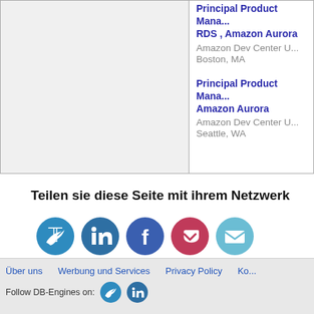|  | Principal Product Mana... RDS , Amazon Aurora
Amazon Dev Center U...
Boston, MA |
|  | Principal Product Mana... Amazon Aurora
Amazon Dev Center U...
Seattle, WA |
Teilen sie diese Seite mit ihrem Netzwerk
[Figure (infographic): Social sharing icons: Twitter (blue), LinkedIn (blue), Facebook (blue), Pocket (red/pink), Email (light blue)]
Über uns   Werbung und Services   Privacy Policy   Ko...
Follow DB-Engines on: [Twitter icon] [LinkedIn icon]